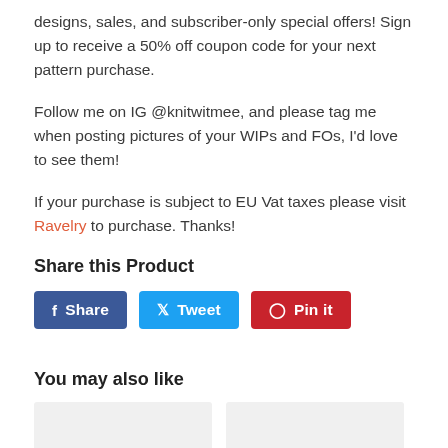designs, sales, and subscriber-only special offers! Sign up to receive a 50% off coupon code for your next pattern purchase.
Follow me on IG @knitwitmee, and please tag me when posting pictures of your WIPs and FOs, I'd love to see them!
If your purchase is subject to EU Vat taxes please visit Ravelry to purchase. Thanks!
Share this Product
Share | Tweet | Pin it (social share buttons)
You may also like
[Figure (other): Two thumbnail image placeholders for recommended products]